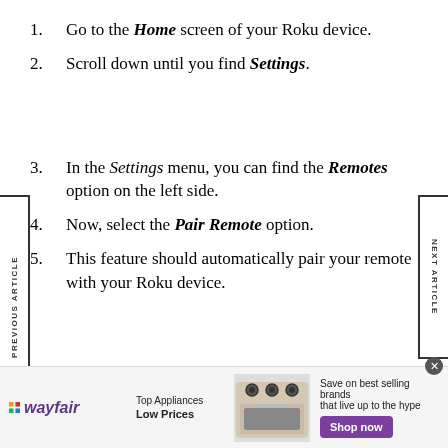1. Go to the Home screen of your Roku device.
2. Scroll down until you find Settings.
3. In the Settings menu, you can find the Remotes option on the left side.
4. Now, select the Pair Remote option.
5. This feature should automatically pair your remote with your Roku device.
[Figure (infographic): Wayfair advertisement banner: Top Appliances Low Prices, image of a stove, Save on best selling brands that live up to the hype, Shop now button]